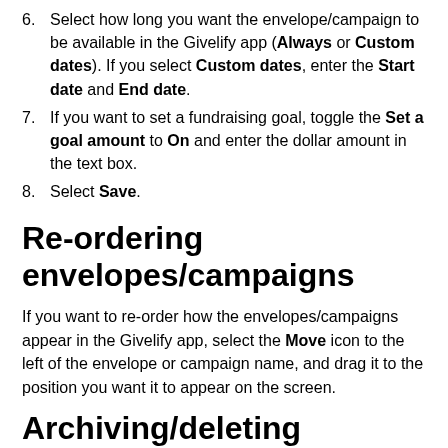6. Select how long you want the envelope/campaign to be available in the Givelify app (Always or Custom dates). If you select Custom dates, enter the Start date and End date.
7. If you want to set a fundraising goal, toggle the Set a goal amount to On and enter the dollar amount in the text box.
8. Select Save.
Re-ordering envelopes/campaigns
If you want to re-order how the envelopes/campaigns appear in the Givelify app, select the Move icon to the left of the envelope or campaign name, and drag it to the position you want it to appear on the screen.
Archiving/deleting